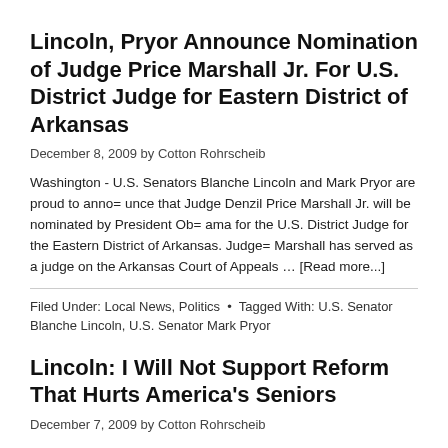Lincoln, Pryor Announce Nomination of Judge Price Marshall Jr. For U.S. District Judge for Eastern District of Arkansas
December 8, 2009 by Cotton Rohrscheib
Washington - U.S. Senators Blanche Lincoln and Mark Pryor are proud to anno= unce that Judge Denzil Price Marshall Jr. will be nominated by President Ob= ama for the U.S. District Judge for the Eastern District of Arkansas. Judge= Marshall has served as a judge on the Arkansas Court of Appeals … [Read more...]
Filed Under: Local News, Politics • Tagged With: U.S. Senator Blanche Lincoln, U.S. Senator Mark Pryor
Lincoln: I Will Not Support Reform That Hurts America's Seniors
December 7, 2009 by Cotton Rohrscheib
Washington –As she opposed another Republican amendment today